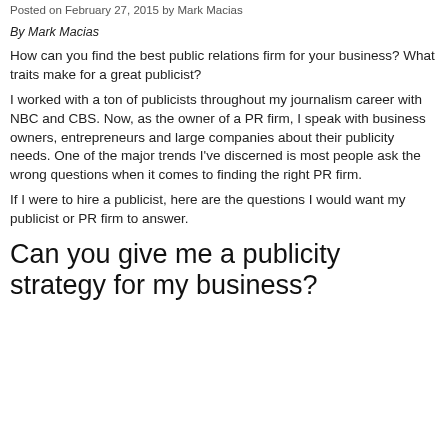Posted on February 27, 2015 by Mark Macias
By Mark Macias
How can you find the best public relations firm for your business? What traits make for a great publicist?
I worked with a ton of publicists throughout my journalism career with NBC and CBS. Now, as the owner of a PR firm, I speak with business owners, entrepreneurs and large companies about their publicity needs. One of the major trends I've discerned is most people ask the wrong questions when it comes to finding the right PR firm.
If I were to hire a publicist, here are the questions I would want my publicist or PR firm to answer.
Can you give me a publicity strategy for my business?